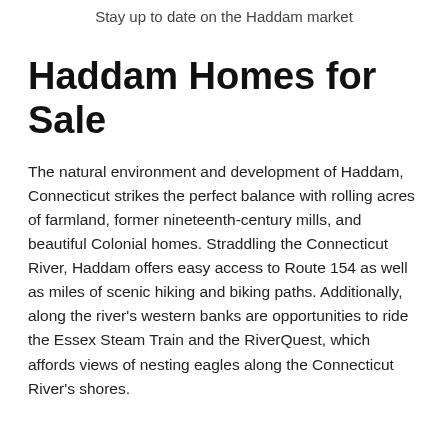Stay up to date on the Haddam market
Haddam Homes for Sale
The natural environment and development of Haddam, Connecticut strikes the perfect balance with rolling acres of farmland, former nineteenth-century mills, and beautiful Colonial homes. Straddling the Connecticut River, Haddam offers easy access to Route 154 as well as miles of scenic hiking and biking paths. Additionally, along the river’s western banks are opportunities to ride the Essex Steam Train and the RiverQuest, which affords views of nesting eagles along the Connecticut River’s shores.